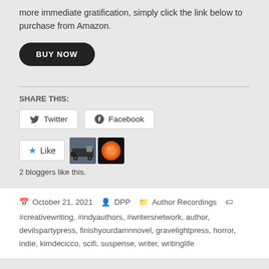more immediate gratification, simply click the link below to purchase from Amazon.
BUY NOW
SHARE THIS:
Twitter
Facebook
Like
2 bloggers like this.
October 21, 2021   DPP   Author Recordings   #creativewriting, #indyauthors, #writersnetwork, author, devilspartypress, finishyourdamnnovel, gravelightpress, horror, indie, kimdecicco, scifi, suspense, writer, writinglife